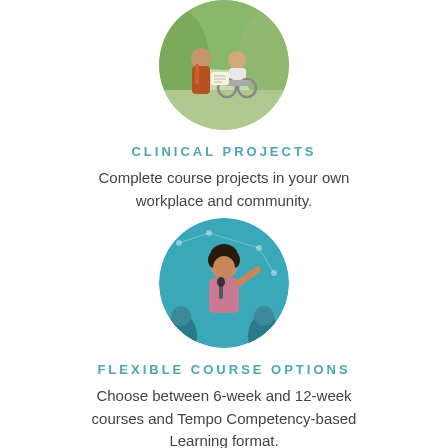[Figure (photo): Circular photo of two people outdoors, one person in a wheelchair, sharing documents]
CLINICAL PROJECTS
Complete course projects in your own workplace and community.
[Figure (photo): Circular photo of a woman speaking into a microphone on a teal background]
FLEXIBLE COURSE OPTIONS
Choose between 6-week and 12-week courses and Tempo Competency-based Learning format.